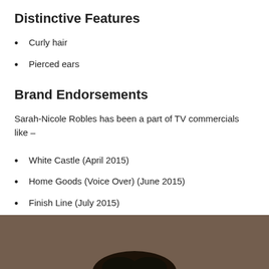Distinctive Features
Curly hair
Pierced ears
Brand Endorsements
Sarah-Nicole Robles has been a part of TV commercials like –
White Castle (April 2015)
Home Goods (Voice Over) (June 2015)
Finish Line (July 2015)
[Figure (photo): Bottom portion of a photo showing a person, cropped — dark background with top of head visible]